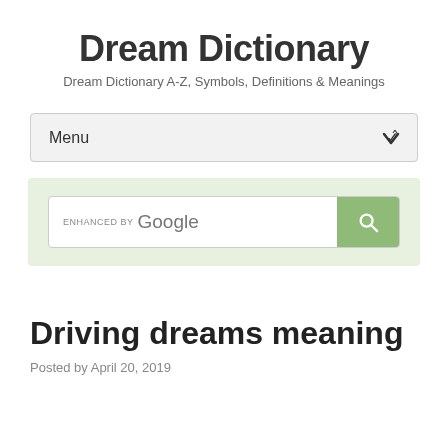Dream Dictionary
Dream Dictionary A-Z, Symbols, Definitions & Meanings
Menu
[Figure (screenshot): Google custom search bar with 'ENHANCED BY Google' label and a green search button with magnifying glass icon, set inside a light green background box]
Driving dreams meaning
Posted by April 20, 2019